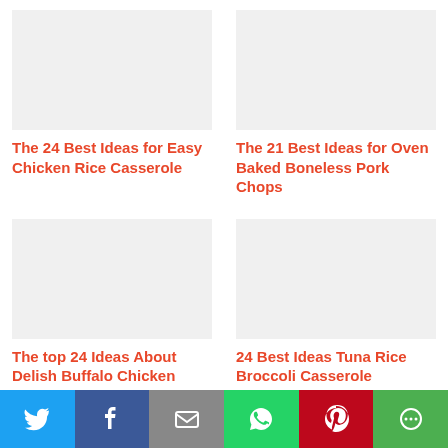The 24 Best Ideas for Easy Chicken Rice Casserole
The 21 Best Ideas for Oven Baked Boneless Pork Chops
The top 24 Ideas About Delish Buffalo Chicken Casserole
24 Best Ideas Tuna Rice Broccoli Casserole